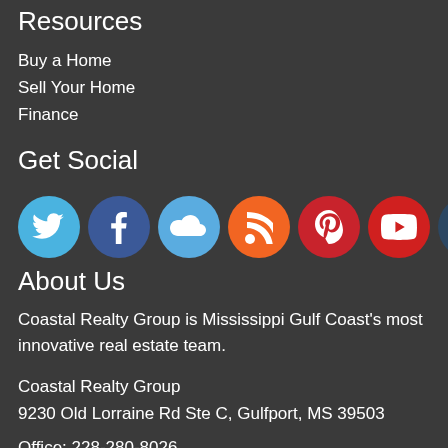Resources
Buy a Home
Sell Your Home
Finance
Get Social
[Figure (infographic): Row of 7 social media icon buttons: Twitter (blue), Facebook (dark blue), Cloud (light blue), RSS (orange), Pinterest (red), YouTube (red), Tumblr (dark blue)]
About Us
Coastal Realty Group is Mississippi Gulf Coast's most innovative real estate team.
Coastal Realty Group
9230 Old Lorraine Rd Ste C, Gulfport, MS 39503
Office: 228-280-8026
[Figure (logo): Circular badge with blue border, white stars, and yellow/blue design at bottom (partially visible)]